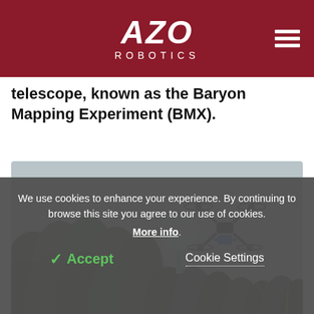AZO ROBOTICS
telescope, known as the Baryon Mapping Experiment (BMX).
[Figure (photo): A multi-rotor drone with a blue payload flying over a wooded area with a water tower in the background.]
We use cookies to enhance your experience. By continuing to browse this site you agree to our use of cookies. More info.
✓ Accept   Cookie Settings